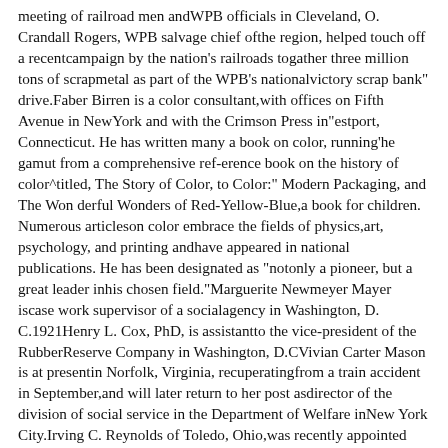meeting of railroad men andWPB officials in Cleveland, O. Crandall Rogers, WPB salvage chief ofthe region, helped touch off a recentcampaign by the nation's railroads togather three million tons of scrapmetal as part of the WPB's nationalvictory scrap bank" drive.Faber Birren is a color consultant,with offices on Fifth Avenue in NewYork and with the Crimson Press in"estport, Connecticut. He has written many a book on color, running'he gamut from a comprehensive ref-erence book on the history of color^titled, The Story of Color, to Color:" Modern Packaging, and The Won derful Wonders of Red-Yellow-Blue,a book for children. Numerous articleson color embrace the fields of physics,art, psychology, and printing andhave appeared in national publications. He has been designated as "notonly a pioneer, but a great leader inhis chosen field."Marguerite Newmeyer Mayer iscase work supervisor of a socialagency in Washington, D. C.1921Henry L. Cox, PhD, is assistantto the vice-president of the RubberReserve Company in Washington, D.CVivian Carter Mason is at presentin Norfolk, Virginia, recuperatingfrom a train accident in September,and will later return to her post asdirector of the division of social service in the Department of Welfare inNew York City.Irving C. Reynolds of Toledo, Ohio,was recently appointed chief of thedairy products, fats and oil rationingbranch of the OPA. Mrs. Reynoldswas Ruth Irene Hamilton, '21, whenshe was on the Quadrangles. 1922Horace Levinson, PhD, directs andis treasurer of the L. Bamberger Company of Newark, New Jersey.Leo Rice is with the Prudential Insurance Company, office in Chicago. Sid—